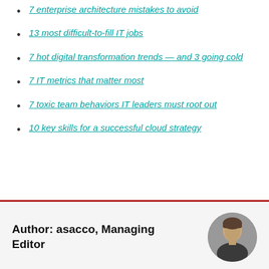7 enterprise architecture mistakes to avoid
13 most difficult-to-fill IT jobs
7 hot digital transformation trends — and 3 going cold
7 IT metrics that matter most
7 toxic team behaviors IT leaders must root out
10 key skills for a successful cloud strategy
Author: asacco, Managing Editor